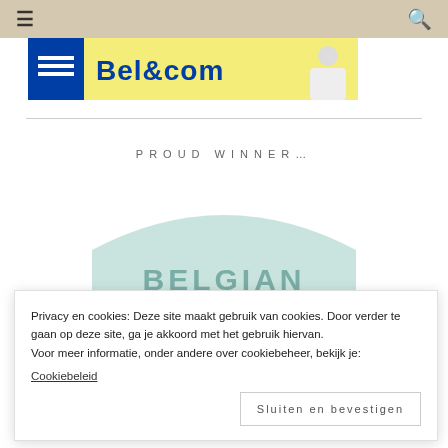☰  🔍
[Figure (photo): Banner advertisement with blue bar and yellow background showing 'Bel&com' text and a person in white shirt]
PROUD WINNER…
[Figure (illustration): Belgian Mama award badge/logo in mint green color with text 'BELGIAN' and cursive text below, with '2015' at the bottom]
Privacy en cookies: Deze site maakt gebruik van cookies. Door verder te gaan op deze site, ga je akkoord met het gebruik hiervan. Voor meer informatie, onder andere over cookiebeheer, bekijk je:
Cookiebeleid
Sluiten en bevestigen